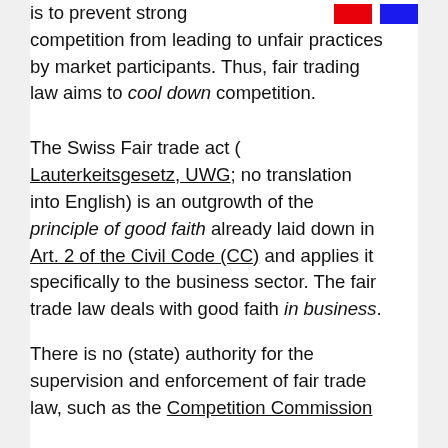is to prevent strong competition from leading to unfair practices by market participants. Thus, fair trading law aims to cool down competition.
The Swiss Fair trade act (Lauterkeitsgesetz, UWG; no translation into English) is an outgrowth of the principle of good faith already laid down in Art. 2 of the Civil Code (CC) and applies it specifically to the business sector. The fair trade law deals with good faith in business.
There is no (state) authority for the supervision and enforcement of fair trade law, such as the Competition Commission